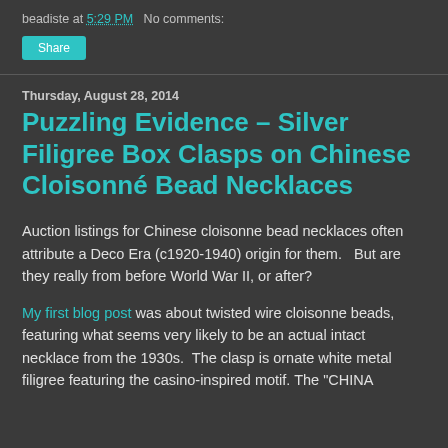beadiste at 5:29 PM   No comments:
Share
Thursday, August 28, 2014
Puzzling Evidence – Silver Filigree Box Clasps on Chinese Cloisonné Bead Necklaces
Auction listings for Chinese cloisonne bead necklaces often attribute a Deco Era (c1920-1940) origin for them.   But are they really from before World War II, or after?
My first blog post was about twisted wire cloisonne beads, featuring what seems very likely to be an actual intact necklace from the 1930s.  The clasp is ornate white metal filigree featuring the casino-inspired motif. The "CHINA"